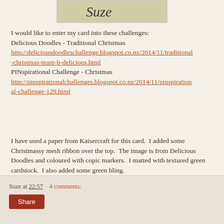[Figure (illustration): Cropped image showing the name 'Suze' in stylized script with a decorative background]
I would like to enter my card into these challenges:
Delicious Doodles - Traditional Christmas
http://deliciousdoodleschallenge.blogspot.co.nz/2014/11/traditional-christmas-team-b-delicious.html
PINspirational Challenge - Christmas
http://pinspirationalchallenges.blogspot.co.nz/2014/11/pinspirational-challenge-129.html
I have used a paper from Kaisercraft for this card.  I added some Christmassy mesh ribbon over the top.  The image is from Delicious Doodles and coloured with copic markers.  I matted with textured green cardstock.  I also added some green bling.
Suze at 22:57   4 comments:  Share